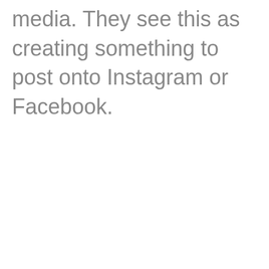media. They see this as creating something to post onto Instagram or Facebook.